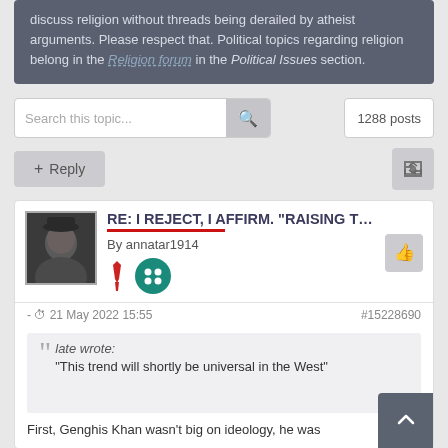discuss religion without threads being derailed by atheist arguments. Please respect that. Political topics regarding religion belong in the Religion forum in the Political Issues section.
Search this topic...
1288 posts
+ Reply
RE: I REJECT, I AFFIRM. "RAISING THE BLA
By annatar1914
- 21 May 2022 15:55  #15228690
late wrote: "This trend will shortly be universal in the West"
First, Genghis Khan wasn't big on ideology, he was